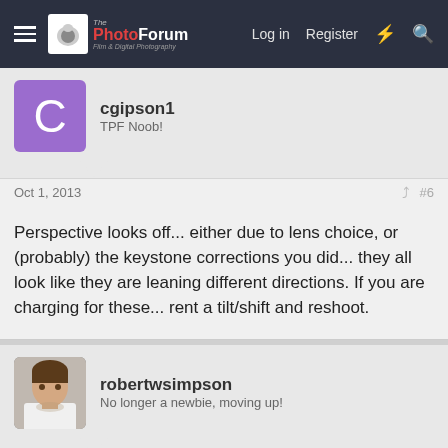The PhotoForum — Log in  Register
cgipson1
TPF Noob!
Oct 1, 2013  #6
Perspective looks off... either due to lens choice, or (probably) the keystone corrections you did... they all look like they are leaning different directions. If you are charging for these... rent a tilt/shift and reshoot.
robertwsimpson
No longer a newbie, moving up!
Oct 1, 2013  Thread Starter  #7
Can't reshoot. I'm re-editing the photos again anyway. I didn't